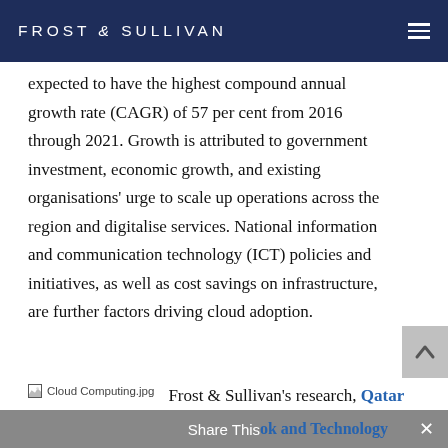FROST & SULLIVAN
expected to have the highest compound annual growth rate (CAGR) of 57 per cent from 2016 through 2021. Growth is attributed to government investment, economic growth, and existing organisations' urge to scale up operations across the region and digitalise services. National information and communication technology (ICT) policies and initiatives, as well as cost savings on infrastructure, are further factors driving cloud adoption.
[Figure (photo): Broken image placeholder labeled 'Cloud Computing.jpg']
Frost & Sullivan's research, Qatar Cloud Computing Market – Macro Outlook and Technology
Share This